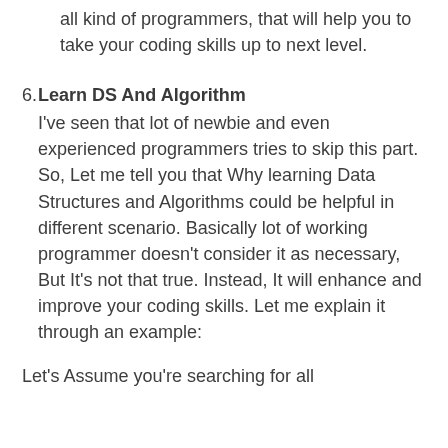all kind of programmers, that will help you to take your coding skills up to next level.
6. Learn DS And Algorithm
I've seen that lot of newbie and even experienced programmers tries to skip this part. So, Let me tell you that Why learning Data Structures and Algorithms could be helpful in different scenario. Basically lot of working programmer doesn't consider it as necessary, But It's not that true. Instead, It will enhance and improve your coding skills. Let me explain it through an example:
Let's Assume you're searching for all